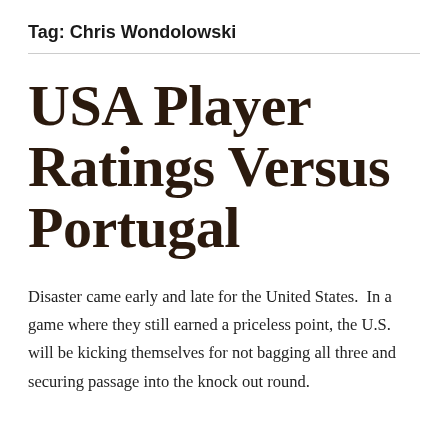Tag: Chris Wondolowski
USA Player Ratings Versus Portugal
Disaster came early and late for the United States.  In a game where they still earned a priceless point, the U.S. will be kicking themselves for not bagging all three and securing passage into the knock out round.